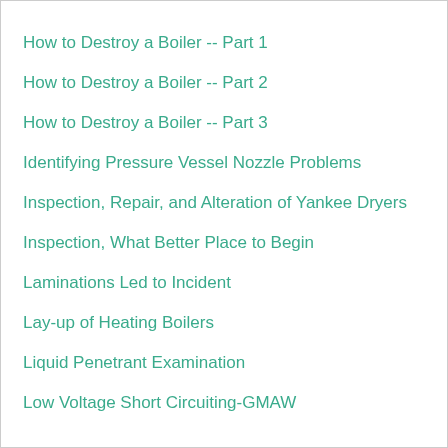How to Destroy a Boiler -- Part 1
How to Destroy a Boiler -- Part 2
How to Destroy a Boiler -- Part 3
Identifying Pressure Vessel Nozzle Problems
Inspection, Repair, and Alteration of Yankee Dryers
Inspection, What Better Place to Begin
Laminations Led to Incident
Lay-up of Heating Boilers
Liquid Penetrant Examination
Low Voltage Short Circuiting-GMAW